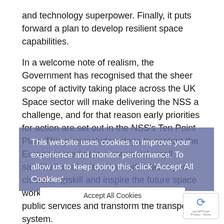and technology superpower. Finally, it puts forward a plan to develop resilient space capabilities.
In a welcome note of realism, the Government has recognised that the sheer scope of activity taking place across the UK Space sector will make delivering the NSS a challenge, and for that reason early priorities for action are set out in the NSS's Ten Point Plan. This plan includes steps to capture the European market in commercial small satellite launch; develop world-class space clusters; upskill and inspire the future space workforce; and utilise space to improve public services and transform the transport system.
The importance of the goal to coordinate civil and defence space policy should not be missed. With commitments from UK Defence to invest £5bn in military satellite communication capabilities and £1.2bn in new Space Domain Awareness (SDA) and Intelligence, Surveillance and Reconnaissance (ISR) capabilities, the NSS confirms the launch of the UK's first Defence Space Portfolio. ADS looks forward to the release of the UK Defence Space Strategy later this year, which will